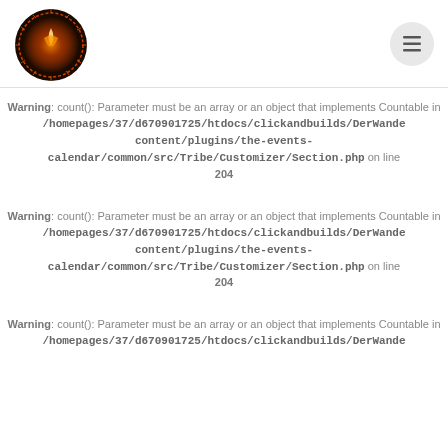[Logo image] [Menu button]
Warning: count(): Parameter must be an array or an object that implements Countable in /homepages/37/d670901725/htdocs/clickandbuilds/DerWande content/plugins/the-events-calendar/common/src/Tribe/Customizer/Section.php on line 204
Warning: count(): Parameter must be an array or an object that implements Countable in /homepages/37/d670901725/htdocs/clickandbuilds/DerWande content/plugins/the-events-calendar/common/src/Tribe/Customizer/Section.php on line 204
Warning: count(): Parameter must be an array or an object that implements Countable in /homepages/37/d670901725/htdocs/clickandbuilds/DerWande